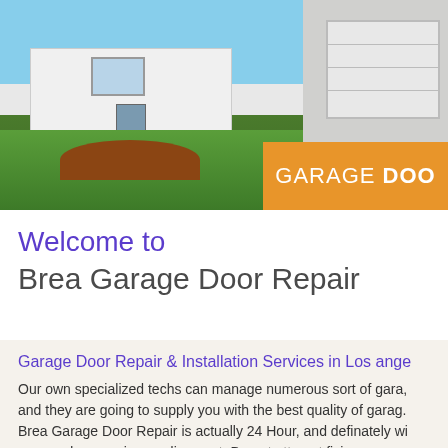[Figure (photo): Hero image of a house with green lawn and garden in front, white garage door on the right side, with an orange banner overlay reading 'GARAGE DOO']
Welcome to
Brea Garage Door Repair
Garage Door Repair & Installation Services in Los ange
Our own specialized techs can manage numerous sort of gara, and they are going to supply you with the best quality of garag. Brea Garage Door Repair is actually 24 Hour, and definately wi garage door service predicament. Do not attempt fixing your g